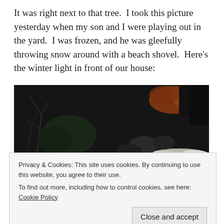It was right next to that tree.  I took this picture yesterday when my son and I were playing out in the yard.  I was frozen, and he was gleefully throwing snow around with a beach shovel.  Here’s the winter light in front of our house:
[Figure (photo): A dark winter outdoor scene showing snow on the ground with shrubs, bare branches, and rocks in shadow and light. A patch of orange/red foliage is visible in the upper right area.]
Privacy & Cookies: This site uses cookies. By continuing to use this website, you agree to their use.
To find out more, including how to control cookies, see here: Cookie Policy
[Figure (photo): Partial view of a snowy outdoor scene, bottom portion of the photograph.]